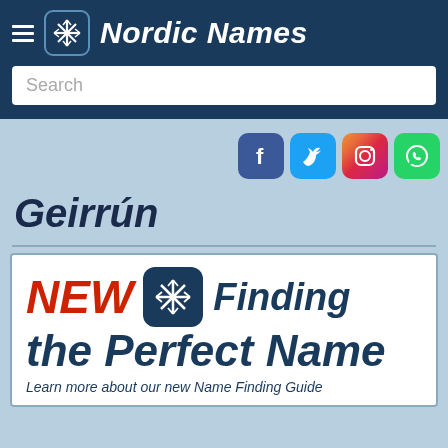Nordic Names
Geirrún
[Figure (screenshot): Nordic Names website banner advertising 'NEW Finding the Perfect Name - Learn more about our new Name Finding Guide']